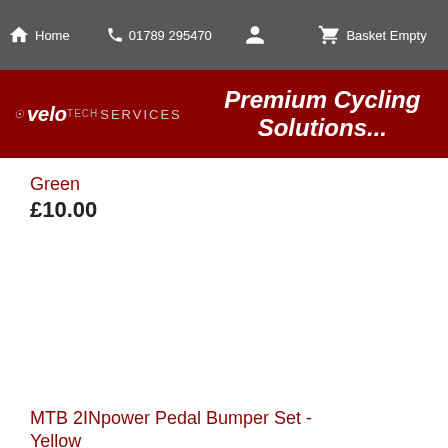Home | 01789 295470 | Basket Empty
[Figure (logo): Velo Tech Services logo with 'Premium Cycling Solutions...' tagline on dark red background]
Green
£10.00
MTB 2INpower Pedal Bumper Set - Yellow
£10.00